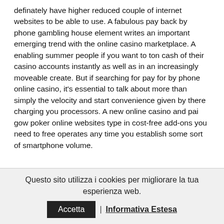definately have higher reduced couple of internet websites to be able to use. A fabulous pay back by phone gambling house element writes an important emerging trend with the online casino marketplace. A enabling summer people if you want to ton cash of their casino accounts instantly as well as in an increasingly moveable create. But if searching for pay for by phone online casino, it's essential to talk about more than simply the velocity and start convenience given by there charging you processors. A new online casino and pai gow poker online websites type in cost-free add-ons you need to free operates any time you establish some sort of smartphone volume.
Questo sito utilizza i cookies per migliorare la tua esperienza web. | Informativa Estesa